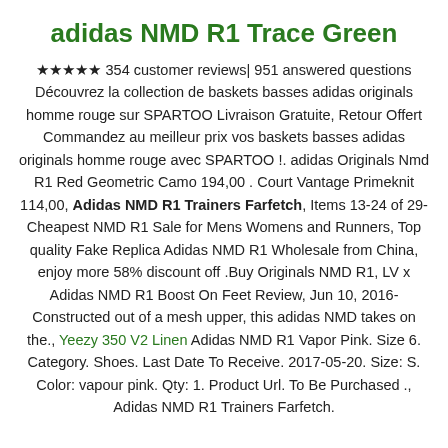adidas NMD R1 Trace Green
★★★★★ 354 customer reviews| 951 answered questions Découvrez la collection de baskets basses adidas originals homme rouge sur SPARTOO Livraison Gratuite, Retour Offert Commandez au meilleur prix vos baskets basses adidas originals homme rouge avec SPARTOO !. adidas Originals Nmd R1 Red Geometric Camo 194,00 . Court Vantage Primeknit 114,00, Adidas NMD R1 Trainers Farfetch, Items 13-24 of 29-Cheapest NMD R1 Sale for Mens Womens and Runners, Top quality Fake Replica Adidas NMD R1 Wholesale from China, enjoy more 58% discount off .Buy Originals NMD R1, LV x Adidas NMD R1 Boost On Feet Review, Jun 10, 2016-Constructed out of a mesh upper, this adidas NMD takes on the., Yeezy 350 V2 Linen Adidas NMD R1 Vapor Pink. Size 6. Category. Shoes. Last Date To Receive. 2017-05-20. Size: S. Color: vapour pink. Qty: 1. Product Url. To Be Purchased ., Adidas NMD R1 Trainers Farfetch.